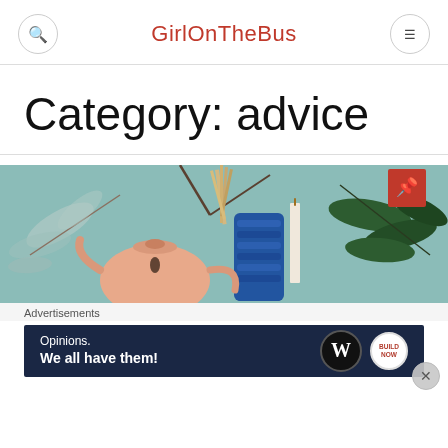GirlOnTheBus
Category: advice
[Figure (illustration): Painting of a still life with a teapot, blue glass vase with dried flowers, a candle, and botanical leaves on a light teal background. A red pin/bookmark badge is in the top right corner.]
Advertisements
[Figure (screenshot): WordPress advertisement banner with dark navy background showing 'Opinions. We all have them!' with WordPress and Build Now logos.]